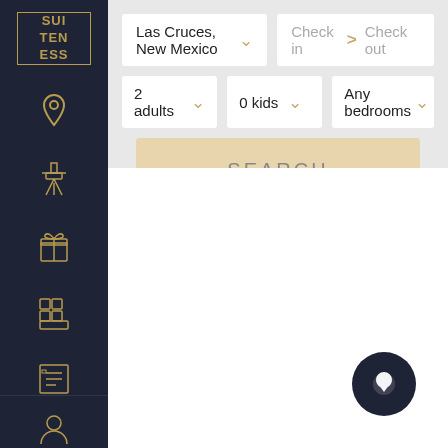[Figure (logo): Suiteness logo: gold bordered box with letters SUI/TEN/ESS stacked]
[Figure (screenshot): Web application search interface with location, check in/out, adults, kids, bedrooms dropdowns and SEARCH button]
[Figure (other): Chat bubble icon in dark navy circle at bottom right]